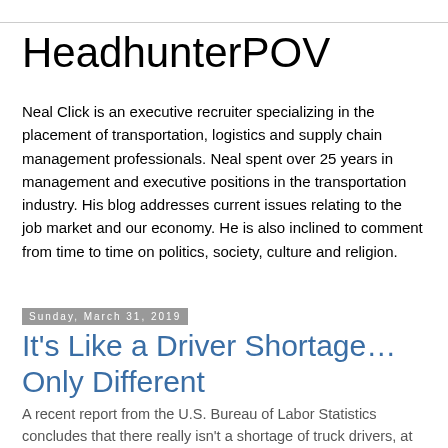HeadhunterPOV
Neal Click is an executive recruiter specializing in the placement of transportation, logistics and supply chain management professionals. Neal spent over 25 years in management and executive positions in the transportation industry. His blog addresses current issues relating to the job market and our economy. He is also inclined to comment from time to time on politics, society, culture and religion.
Sunday, March 31, 2019
It's Like a Driver Shortage…Only Different
A recent report from the U.S. Bureau of Labor Statistics concludes that there really isn't a shortage of truck drivers, at least as long as we give the labor market time to adjust.